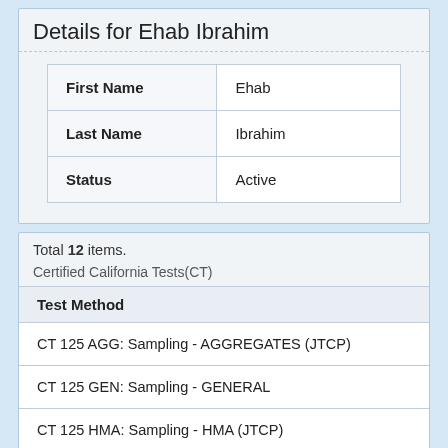Details for Ehab Ibrahim
| First Name | Ehab |
| --- | --- |
| Last Name | Ibrahim |
| Status | Active |
Total 12 items.
Certified California Tests(CT)
| Test Method |
| --- |
| CT 125 AGG: Sampling - AGGREGATES (JTCP) |
| CT 125 GEN: Sampling - GENERAL |
| CT 125 HMA: Sampling - HMA (JTCP) |
| CT 231: Relative Compaction - Nuclear Gage |
| CT 375: AC Density by Nuclear Gage |